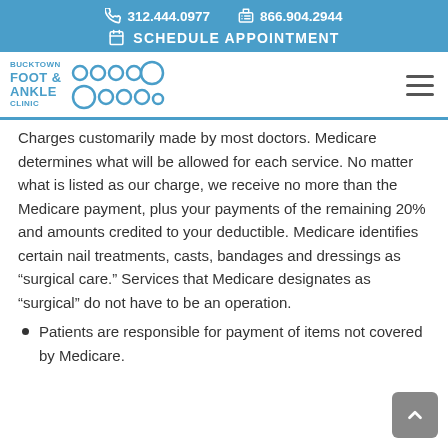312.444.0977   866.904.2944   SCHEDULE APPOINTMENT
[Figure (logo): Bucktown Foot & Ankle Clinic logo with toe icons]
Charges customarily made by most doctors. Medicare determines what will be allowed for each service. No matter what is listed as our charge, we receive no more than the Medicare payment, plus your payments of the remaining 20% and amounts credited to your deductible. Medicare identifies certain nail treatments, casts, bandages and dressings as “surgical care.” Services that Medicare designates as “surgical” do not have to be an operation.
Patients are responsible for payment of items not covered by Medicare.